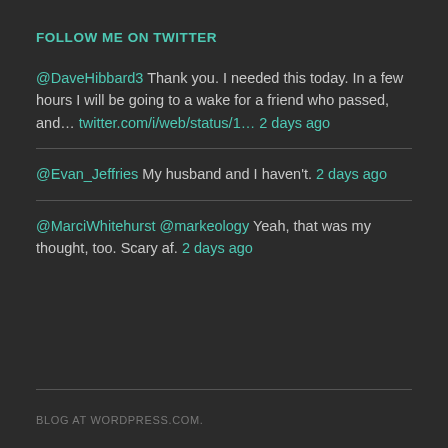FOLLOW ME ON TWITTER
@DaveHibbard3 Thank you. I needed this today. In a few hours I will be going to a wake for a friend who passed, and... twitter.com/i/web/status/1... 2 days ago
@Evan_Jeffries My husband and I haven't. 2 days ago
@MarciWhitehurst @markeology Yeah, that was my thought, too. Scary af. 2 days ago
BLOG AT WORDPRESS.COM.